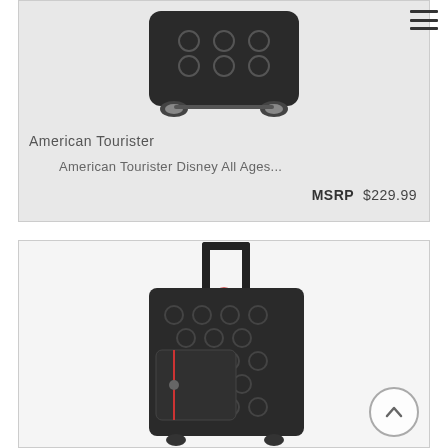[Figure (photo): American Tourister luggage with wheels viewed from back/bottom angle on white background]
American Tourister
American Tourister Disney All Ages...
MSRP $229.99
[Figure (photo): American Tourister Disney soft-side rolling luggage with dark Mickey Mouse pattern, extended handle, shown upright]